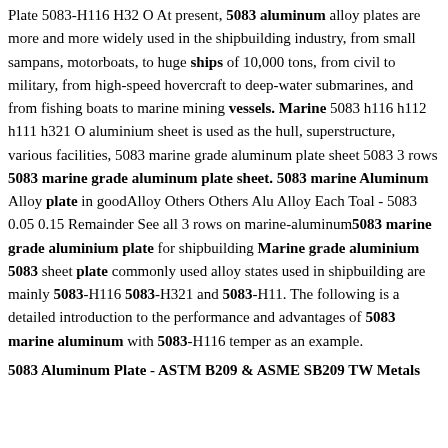Plate 5083-H116 H32 O At present, 5083 aluminum alloy plates are more and more widely used in the shipbuilding industry, from small sampans, motorboats, to huge ships of 10,000 tons, from civil to military, from high-speed hovercraft to deep-water submarines, and from fishing boats to marine mining vessels. Marine 5083 h116 h112 h111 h321 O aluminium sheet is used as the hull, superstructure, various facilities, 5083 marine grade aluminum plate sheet 5083 3 rows 5083 marine grade aluminum plate sheet. 5083 marine Aluminum Alloy plate in goodAlloy Others Others Alu Alloy Each Toal - 5083 0.05 0.15 Remainder See all 3 rows on marine-aluminum5083 marine grade aluminium plate for shipbuilding Marine grade aluminium 5083 sheet plate commonly used alloy states used in shipbuilding are mainly 5083-H116 5083-H321 and 5083-H11. The following is a detailed introduction to the performance and advantages of 5083 marine aluminum with 5083-H116 temper as an example.
5083 Aluminum Plate - ASTM B209 & ASME SB209 TW Metals